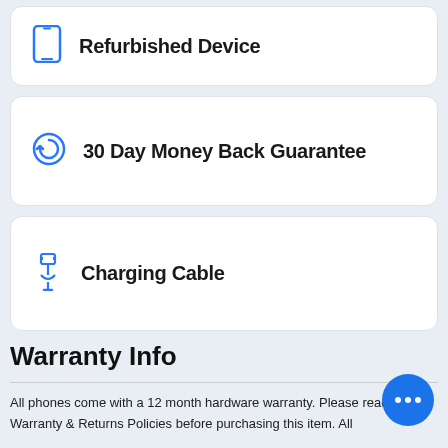Refurbished Device
30 Day Money Back Guarantee
Charging Cable
Warranty Info
All phones come with a 12 month hardware warranty. Please read our Warranty & Returns Policies before purchasing this item. All